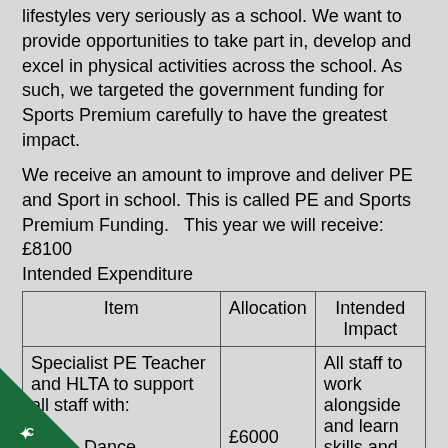lifestyles very seriously as a school. We want to provide opportunities to take part in, develop and excel in physical activities across the school. As such, we targeted the government funding for Sports Premium carefully to have the greatest impact.
We receive an amount to improve and deliver PE and Sport in school. This is called PE and Sports Premium Funding. This year we will receive: £8100 Intended Expenditure
| Item | Allocation | Intended Impact |
| --- | --- | --- |
| Specialist PE Teacher and HLTA to support all staff with:

· Dance
  Gymnastics
  Rugby | £6000 | All staff to work alongside and learn skills and teaching methods for these |